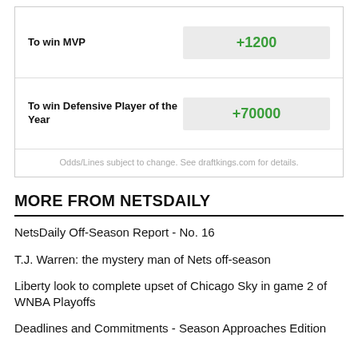| Category | Odds |
| --- | --- |
| To win MVP | +1200 |
| To win Defensive Player of the Year | +70000 |
Odds/Lines subject to change. See draftkings.com for details.
MORE FROM NETSDAILY
NetsDaily Off-Season Report - No. 16
T.J. Warren: the mystery man of Nets off-season
Liberty look to complete upset of Chicago Sky in game 2 of WNBA Playoffs
Deadlines and Commitments - Season Approaches Edition